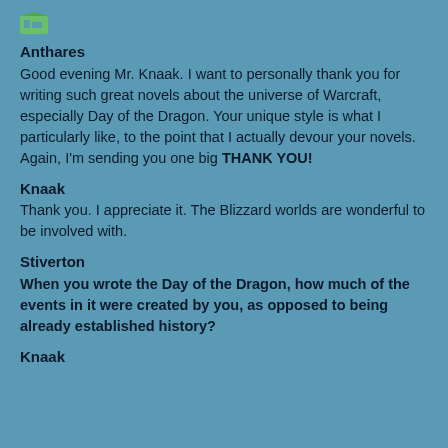[Figure (illustration): Small green icon/avatar image in top left corner]
Anthares
Good evening Mr. Knaak. I want to personally thank you for writing such great novels about the universe of Warcraft, especially Day of the Dragon. Your unique style is what I particularly like, to the point that I actually devour your novels. Again, I'm sending you one big THANK YOU!
Knaak
Thank you. I appreciate it. The Blizzard worlds are wonderful to be involved with.
Stiverton
When you wrote the Day of the Dragon, how much of the events in it were created by you, as opposed to being already established history?
Knaak